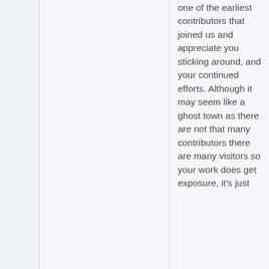one of the earliest contributors that joined us and appreciate you sticking around, and your continued efforts. Although it may seem like a ghost town as there are not that many contributors there are many visitors so your work does get exposure, it's just